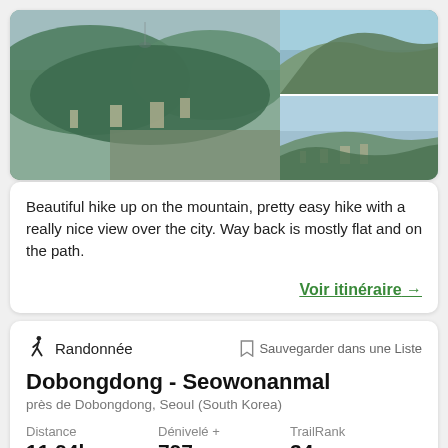[Figure (photo): Three landscape photos of a mountain hike near Seoul. Large left photo shows aerial cityscape with forested hills and Seoul skyline. Top right shows rocky granite cliff face. Bottom right shows city panorama from mountain viewpoint.]
Beautiful hike up on the mountain, pretty easy hike with a really nice view over the city. Way back is mostly flat and on the path.
Voir itinéraire →
Randonnée
Sauvegarder dans une Liste
Dobongdong - Seowonanmal
près de Dobongdong, Seoul (South Korea)
Distance
11,94km
Dénivelé +
797m
TrailRank
34
[Figure (photo): Small circular thumbnail of a trail photo at the bottom of the page.]